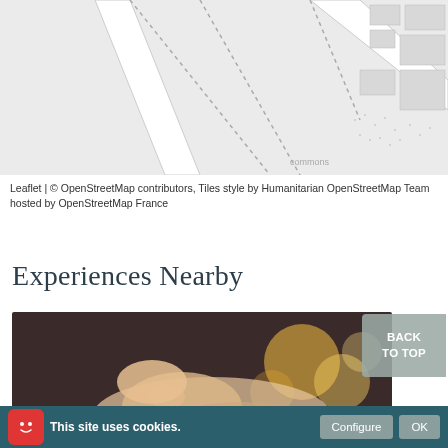[Figure (map): Partial map showing street layout with dotted paths, road labels including 'Letch Hill' and 'Road', light grey background with road outlines]
Leaflet | © OpenStreetMap contributors, Tiles style by Humanitarian OpenStreetMap Team hosted by OpenStreetMap France
Experiences Nearby
[Figure (photo): Photo of a person lying down relaxing, face visible, blurred warm bokeh lights in background suggesting a spa or wellness setting]
BACK TO TOP
This site uses cookies.